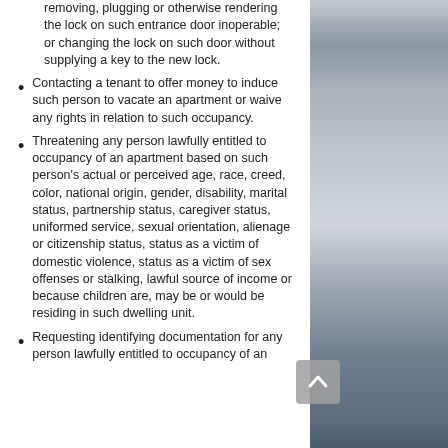removing, plugging or otherwise rendering the lock on such entrance door inoperable; or changing the lock on such door without supplying a key to the new lock.
Contacting a tenant to offer money to induce such person to vacate an apartment or waive any rights in relation to such occupancy.
Threatening any person lawfully entitled to occupancy of an apartment based on such person's actual or perceived age, race, creed, color, national origin, gender, disability, marital status, partnership status, caregiver status, uniformed service, sexual orientation, alienage or citizenship status, status as a victim of domestic violence, status as a victim of sex offenses or stalking, lawful source of income or because children are, may be or would be residing in such dwelling unit.
Requesting identifying documentation for any person lawfully entitled to occupancy of an